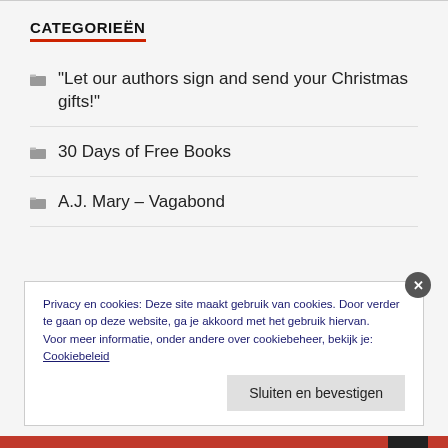CATEGORIEËN
"Let our authors sign and send your Christmas gifts!"
30 Days of Free Books
A.J. Mary – Vagabond
Privacy en cookies: Deze site maakt gebruik van cookies. Door verder te gaan op deze website, ga je akkoord met het gebruik hiervan. Voor meer informatie, onder andere over cookiebeheer, bekijk je: Cookiebeleid
Sluiten en bevestigen